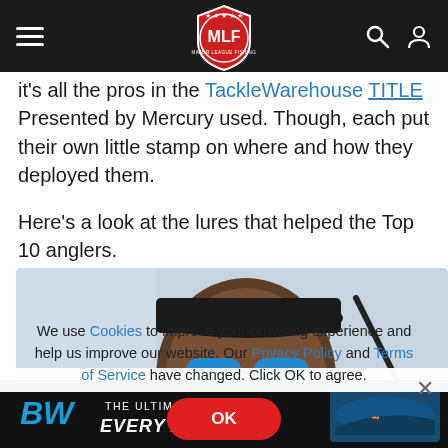MLF - Major League Fishing navigation bar
it's all the pros in the TackleWarehouse TITLE Presented by Mercury used. Though, each put their own little stamp on where and how they deployed them.
Here's a look at the lures that helped the Top 10 anglers.
[Figure (photo): A smiling man with sunglasses and a dark cap holding a fishing rod outdoors]
We use Cookies to improve your browsing experience and help us improve our website. Our Privacy Policy and Terms of Service have changed. Click OK to agree.
[Figure (other): BW trailer hitches advertisement - The Ultimate Hitch for Every Angler with boat image]